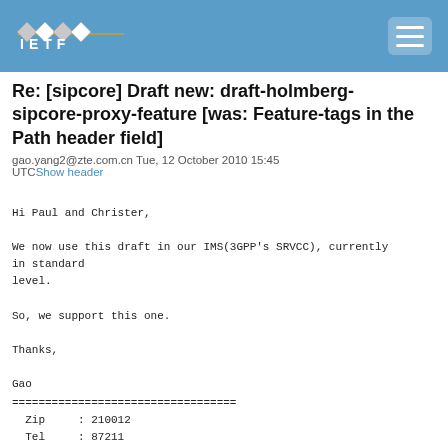IETF
Re: [sipcore] Draft new: draft-holmberg-sipcore-proxy-feature [was: Feature-tags in the Path header field]
gao.yang2@zte.com.cn Tue, 12 October 2010 15:45 UTCShow header
Hi Paul and Christer,

We now use this draft in our IMS(3GPP's SRVCC), currently in standard
level.

So, we support this one.

Thanks,

Gao
==================================
  Zip     : 210012
  Tel     : 87211
  Tel2    :(+86)-025-52877211